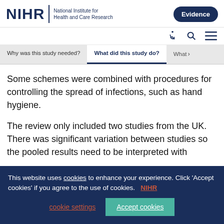[Figure (logo): NIHR logo with text 'National Institute for Health and Care Research' and 'Evidence' button]
Navigation icons: accessibility, search, menu
What did this study do?
Some schemes were combined with procedures for controlling the spread of infections, such as hand hygiene.
The review only included two studies from the UK. There was significant variation between studies so the pooled results need to be interpreted with
This website uses cookies to enhance your experience. Click 'Accept cookies' if you agree to the use of cookies. NIHR cookie settings  Accept cookies